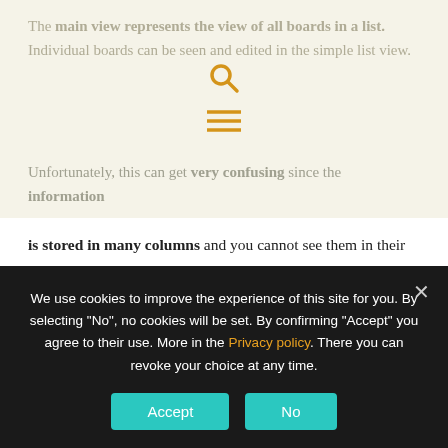The main view represents the view of all boards in a list. Individual boards can be seen and edited in the simple list view.
[Figure (illustration): Search icon (magnifying glass) and hamburger menu icon in amber/gold color, centered on the page]
Unfortunately, this can get very confusing since the information is stored in many columns and you cannot see them in their entirety due to the smaller display. Alternatively, the overview in Timeline and Kanban is also possible.
Further menu navigation is done via a "burger menu" and a sidebar on the left. This way you can view notifications, inbox, search and your own tasks for the week. The app can thus cover large parts of the browser version.
We use cookies to improve the experience of this site for you. By selecting "No", no cookies will be set. By confirming "Accept" you agree to their use. More in the Privacy policy. There you can revoke your choice at any time.